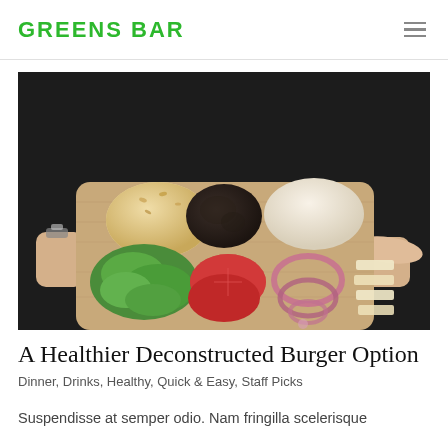GREENS BAR
[Figure (photo): Overhead view of burger ingredients laid out on a wooden cutting board: two halves of burger buns, a dark patty, lettuce, sliced tomatoes, red onion rings, and sliced cheese. Person's hands visible at edges.]
A Healthier Deconstructed Burger Option
Dinner, Drinks, Healthy, Quick & Easy, Staff Picks
Suspendisse at semper odio. Nam fringilla scelerisque